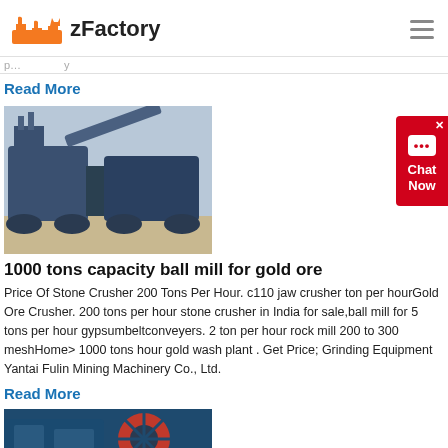zFactory
Read More
[Figure (photo): Large blue industrial mobile crushing/screening machines on a dirt lot]
1000 tons capacity ball mill for gold ore
Price Of Stone Crusher 200 Tons Per Hour. c110 jaw crusher ton per hourGold Ore Crusher. 200 tons per hour stone crusher in India for sale,ball mill for 5 tons per hour gypsumbeltconveyers. 2 ton per hour rock mill 200 to 300 meshHome> 1000 tons hour gold wash plant . Get Price; Grinding Equipment Yantai Fulin Mining Machinery Co., Ltd.
Read More
[Figure (photo): Close-up of blue industrial crusher machinery with red wheel/flywheel visible]